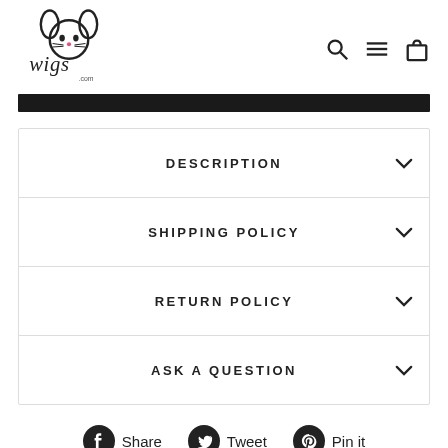[Figure (logo): Mr. Wigs logo with cartoon bunny ears and cursive text reading 'wigs .com']
DESCRIPTION
SHIPPING POLICY
RETURN POLICY
ASK A QUESTION
Share   Tweet   Pin it